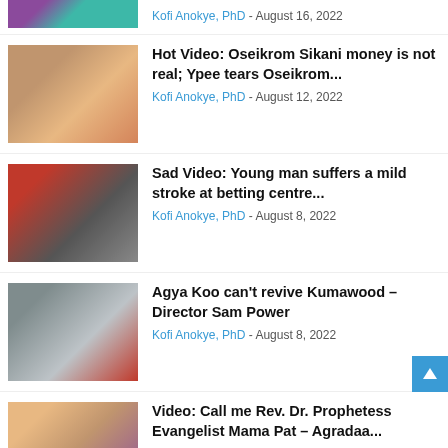[Figure (photo): Partial top thumbnail cropped, colorful pattern]
Kofi Anokye, PhD - August 16, 2022
[Figure (photo): Man holding money to his head]
Hot Video: Oseikrom Sikani money is not real; Ypee tears Oseikrom...
Kofi Anokye, PhD - August 12, 2022
[Figure (photo): Man in red shirt at betting centre]
Sad Video: Young man suffers a mild stroke at betting centre...
Kofi Anokye, PhD - August 8, 2022
[Figure (photo): Two men collage photo]
Agya Koo can't revive Kumawood – Director Sam Power
Kofi Anokye, PhD - August 8, 2022
[Figure (photo): Woman and crowd photo]
Video: Call me Rev. Dr. Prophetess Evangelist Mama Pat – Agradaa...
Kofi Anokye, PhD - August ...